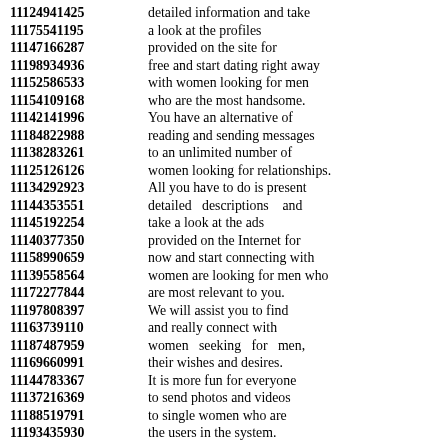11124941425 detailed information and take
11175541195 a look at the profiles
11147166287 provided on the site for
11198934936 free and start dating right away
11152586533 with women looking for men
11154109168 who are the most handsome.
11142141996 You have an alternative of
11184822988 reading and sending messages
11138283261 to an unlimited number of
11125126126 women looking for relationships.
11134292923 All you have to do is present
11144353551 detailed descriptions and
11145192254 take a look at the ads
11140377350 provided on the Internet for
11158990659 now and start connecting with
11139558564 women are looking for men who
11172277844 are most relevant to you.
11197808397 We will assist you to find
11163739110 and really connect with
11187487959 women seeking for men,
11169660991 their wishes and desires.
11144783367 It is more fun for everyone
11137216369 to send photos and videos
11188519791 to single women who are
11193435930 the users in the system.